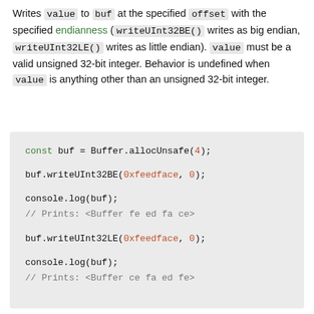Writes value to buf at the specified offset with the specified endianness (writeUInt32BE() writes as big endian, writeUInt32LE() writes as little endian). value must be a valid unsigned 32-bit integer. Behavior is undefined when value is anything other than an unsigned 32-bit integer.
[Figure (screenshot): Code block showing Node.js Buffer writeUInt32BE and writeUInt32LE usage with console.log output comments]